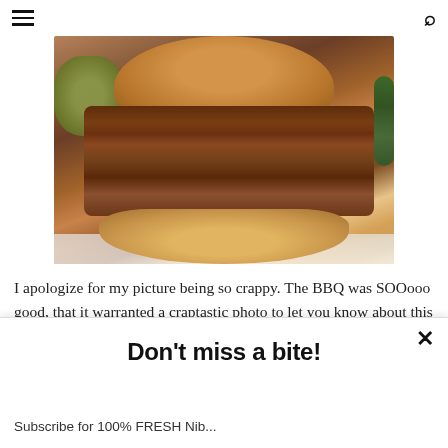≡  [menu]  [search]
[Figure (photo): Close-up photo of a pulled BBQ pork sandwich on a brioche bun, served on a white plate with green beans on the right and a green vegetable side dish on the left.]
I apologize for my picture being so crappy. The BBQ was SOOooo good, that it warranted a craptastic photo to let you know about this stuff...
Don't miss a bite!
Subscribe for 100% FRESH Nib...